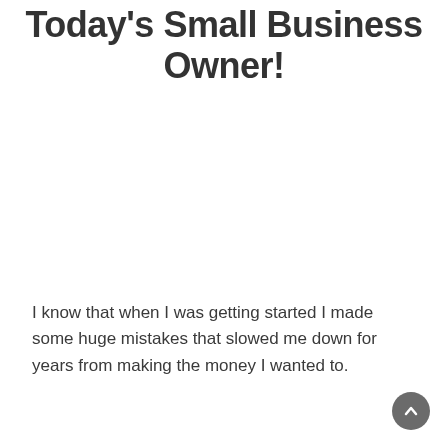Today's Small Business Owner!
I know that when I was getting started I made some huge mistakes that slowed me down for years from making the money I wanted to.